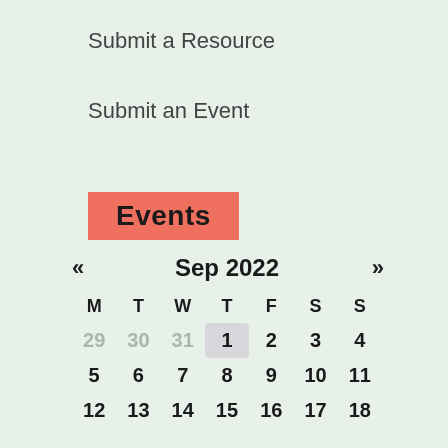Submit a Resource
Submit an Event
Events
[Figure (other): Calendar widget showing September 2022 with navigation arrows, day headers M T W T F S S, and dates starting from 29 (prev month grayed), then 1-18 visible with day 1 highlighted in gray background]